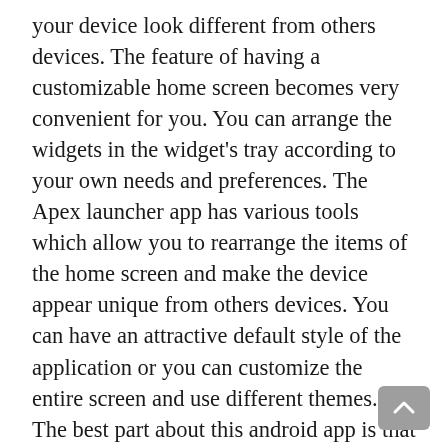your device look different from others devices. The feature of having a customizable home screen becomes very convenient for you. You can arrange the widgets in the widget's tray according to your own needs and preferences. The Apex launcher app has various tools which allow you to rearrange the items of the home screen and make the device appear unique from others devices. You can have an attractive default style of the application or you can customize the entire screen and use different themes. The best part about this android app is that it has hundreds of themes available which you can use to give your device an entirely new look.